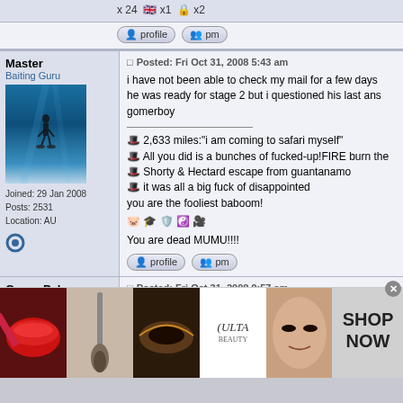x 24 x1 x2
profile   pm
Master
Baiting Guru
Joined: 29 Jan 2008
Posts: 2531
Location: AU
Posted: Fri Oct 31, 2008 5:43 am
i have not been able to check my mail for a few days he was ready for stage 2 but i questioned his last ans gomerboy
2,633 miles:"i am coming to safari myself"
All you did is a bunches of fucked-up!FIRE burn the
Shorty & Hectard escape from guantanamo
it was all a big fuck of disappointed
you are the fooliest baboom!
You are dead MUMU!!!!
profile   pm
GomerPyle
Baiting Guru
Posted: Fri Oct 31, 2008 9:57 am
[Figure (screenshot): ULTA beauty advertisement banner with makeup images and SHOP NOW text]